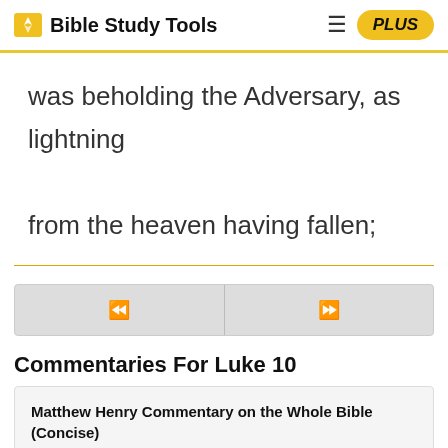Bible Study Tools | PLUS
was beholding the Adversary, as lightning from the heaven having fallen;
[Figure (other): Navigation buttons with back (<<) and forward (>>) arrows]
Commentaries For Luke 10
| Matthew Henry Commentary on the Whole Bible (Concise) |
| Commentary Critical and Explanatory on the Whole Bible |